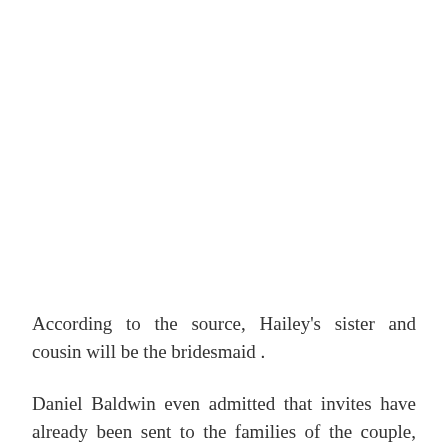According to the source, Hailey's sister and cousin will be the bridesmaid .
Daniel Baldwin even admitted that invites have already been sent to the families of the couple, and he also